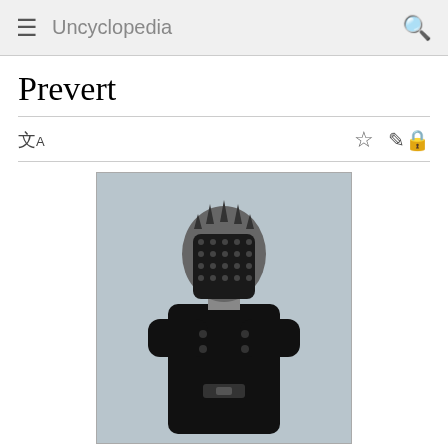Uncyclopedia
Prevert
[Figure (photo): A person wearing a black leather outfit and a studded mask covering their face, standing with arms crossed.]
A prevert waiting for his edits to be reverted.
Whoops! Maybe you were looking for You?